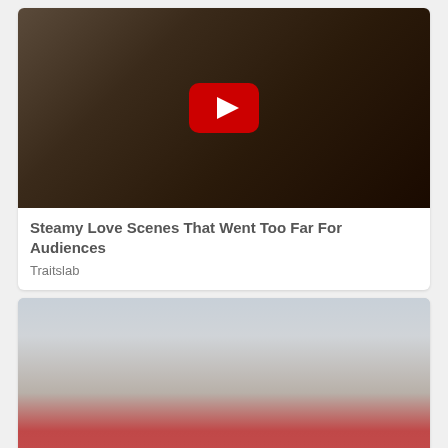[Figure (photo): Thumbnail image for video with YouTube play button overlay, showing two people in an intimate scene with dramatic dark lighting]
Steamy Love Scenes That Went Too Far For Audiences
Traitslab
[Figure (photo): Woman in red tank top taking a mirror selfie in a gym with industrial ceiling and track lighting]